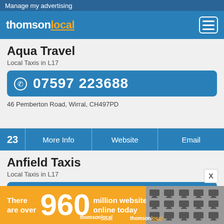Manage my advertising
[Figure (logo): thomsonlocal logo with orange underline on 'local' and menu icon]
Aqua Travel
Local Taxis in L17
07597 223688
46 Pemberton Road, Wirral, CH497PD
23   More Info | Website | Email
Anfield Taxis
Local Taxis in L17
0151 260 1010
22 Severn Street, Liverpool, L50SU
[Figure (infographic): Advertisement: There are over 960 million websites online today - thomsonlocal]